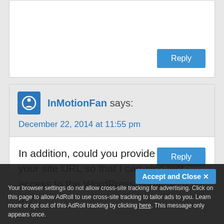[Figure (screenshot): Partial top comment card with a Reply button visible]
InMotionFan says:
December 22, 2014 at 11:55 pm
In addition, could you provide me with your site URL so that I can also test access to the WordPress admin with my IP?
Reply
Accept and Close
Your browser settings do not allow cross-site tracking for advertising. Click on this page to allow AdRoll to use cross-site tracking to tailor ads to you. Learn more or opt out of this AdRoll tracking by clicking here. This message only appears once.